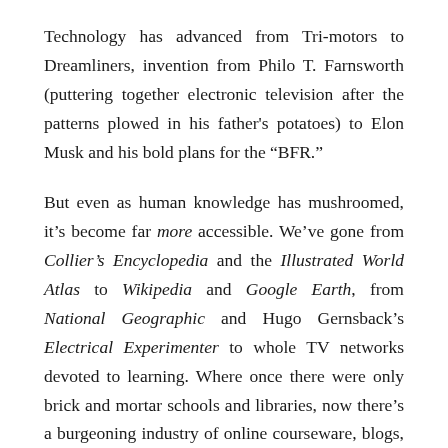Technology has advanced from Tri-motors to Dreamliners, invention from Philo T. Farnsworth (puttering together electronic television after the patterns plowed in his father's potatoes) to Elon Musk and his bold plans for the “BFR.”
But even as human knowledge has mushroomed, it’s become far more accessible. We’ve gone from Collier’s Encyclopedia and the Illustrated World Atlas to Wikipedia and Google Earth, from National Geographic and Hugo Gernsback’s Electrical Experimenter to whole TV networks devoted to learning. Where once there were only brick and mortar schools and libraries, now there’s a burgeoning industry of online courseware, blogs, and YouTube channels that have helped spawn the “Maker Generation.”